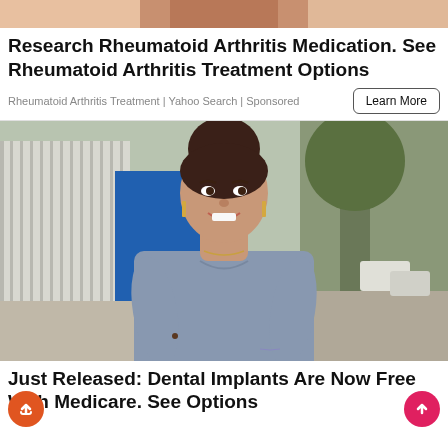[Figure (photo): Cropped top portion of a person, showing torso area, skin tones, partial image at very top of page]
Research Rheumatoid Arthritis Medication. See Rheumatoid Arthritis Treatment Options
Rheumatoid Arthritis Treatment | Yahoo Search | Sponsored
[Figure (photo): A smiling young woman with dark hair in a bun, wearing a grey short-sleeve fitted dress, standing outdoors on a sidewalk with a fence, trees, and parked cars in the background]
Just Released: Dental Implants Are Now Free With Medicare. See Options